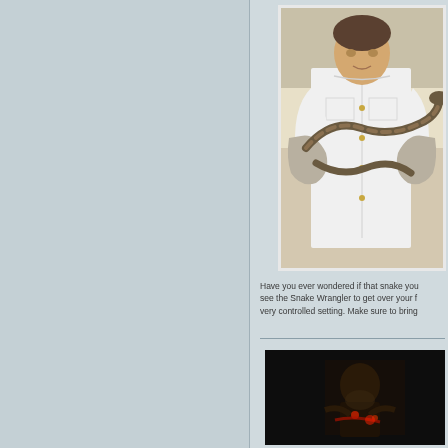[Figure (photo): Man in white shirt and gloves holding a large snake, snake wrangler demonstration photo]
Have you ever wondered if that snake you see the Snake Wrangler to get over your f very controlled setting. Make sure to bring
[Figure (photo): Dark photo of a person holding something, possibly a motorsport or nighttime action scene]